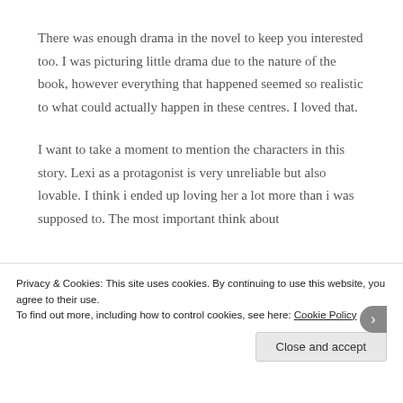There was enough drama in the novel to keep you interested too. I was picturing little drama due to the nature of the book, however everything that happened seemed so realistic to what could actually happen in these centres. I loved that.
I want to take a moment to mention the characters in this story. Lexi as a protagonist is very unreliable but also lovable. I think i ended up loving her a lot more than i was supposed to. The most important think about
Privacy & Cookies: This site uses cookies. By continuing to use this website, you agree to their use.
To find out more, including how to control cookies, see here: Cookie Policy
Close and accept